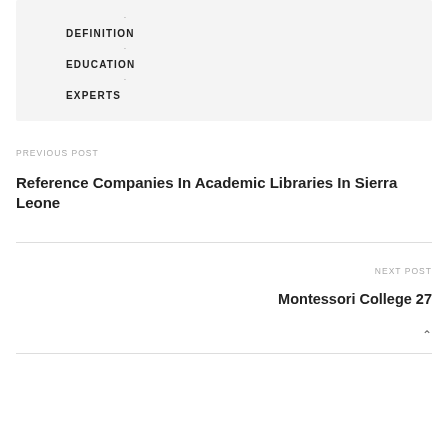DEFINITION
EDUCATION
EXPERTS
PREVIOUS POST
Reference Companies In Academic Libraries In Sierra Leone
NEXT POST
Montessori College 27